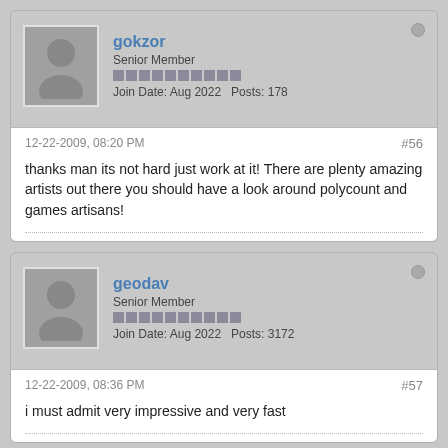gokzor
Senior Member
Join Date: Aug 2022  Posts: 178
12-22-2009, 08:20 PM
#56
thanks man its not hard just work at it! There are plenty amazing artists out there you should have a look around polycount and games artisans!
geodav
Senior Member
Join Date: Aug 2022  Posts: 3172
12-22-2009, 08:36 PM
#57
i must admit very impressive and very fast